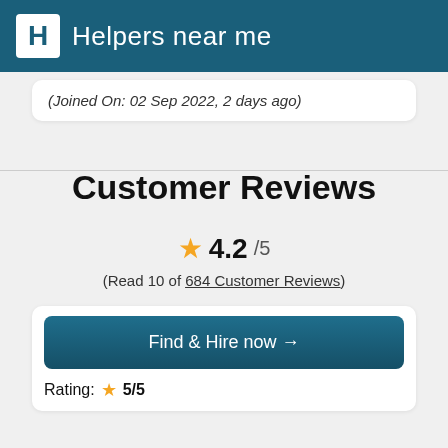Helpers near me
(Joined On: 02 Sep 2022, 2 days ago)
Customer Reviews
★ 4.2 /5
(Read 10 of 684 Customer Reviews)
Find & Hire now →
Rating: ★ 5/5